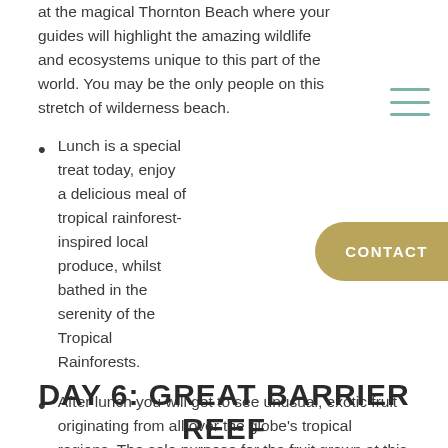at the magical Thornton Beach where your guides will highlight the amazing wildlife and ecosystems unique to this part of the world. You may be the only people on this stretch of wilderness beach.
Lunch is a special treat today, enjoy a delicious meal of tropical rainforest-inspired local produce, whilst bathed in the serenity of the Tropical Rainforests.
After lunch you will get to see unusual, exotic fruit originating from all over the globe's tropical regions. The sole purpose for the fruit grown at this orchard is to make pure, fresh, ice cream which is made on the property and sold nowhere else on the globe. Your last stop and final lasting impression will be at the outstanding panoramic picture postcard view at Alexandra Range Lookout.
DAY 6: GREAT BARRIER REEF